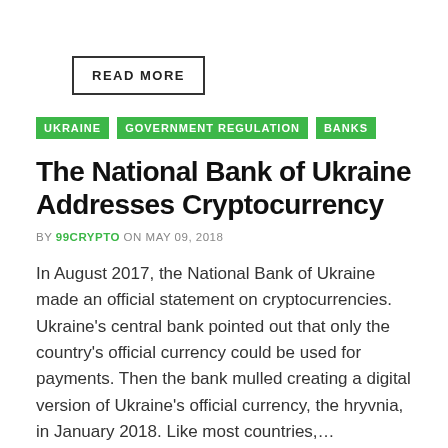READ MORE
UKRAINE   GOVERNMENT REGULATION   BANKS
The National Bank of Ukraine Addresses Cryptocurrency
BY 99CRYPTO ON MAY 09, 2018
In August 2017, the National Bank of Ukraine made an official statement on cryptocurrencies. Ukraine's central bank pointed out that only the country's official currency could be used for payments. Then the bank mulled creating a digital version of Ukraine's official currency, the hryvnia, in January 2018. Like most countries,…